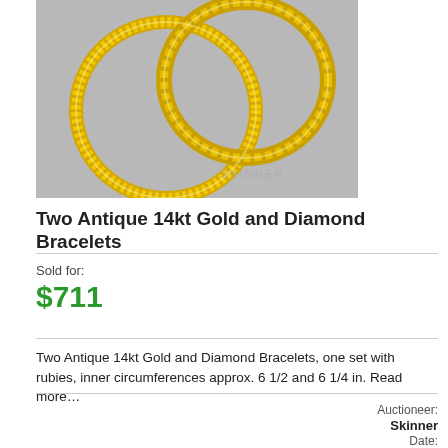[Figure (photo): Two antique 14kt gold bracelets on gray background, with SKINNER watermark. One bracelet has a twisted rope design, the other has a filigree/diamond pattern.]
Two Antique 14kt Gold and Diamond Bracelets
Sold for:
$711
Two Antique 14kt Gold and Diamond Bracelets, one set with rubies, inner circumferences approx. 6 1/2 and 6 1/4 in. Read more…
Auctioneer:
Skinner
Date: